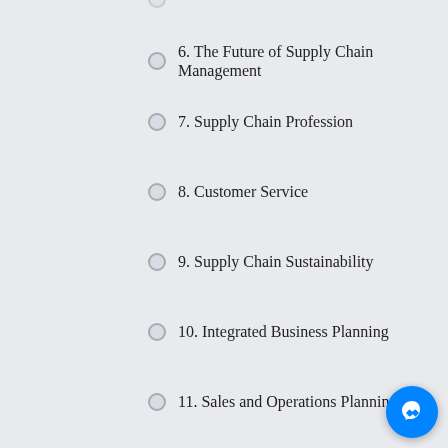6. The Future of Supply Chain Management
7. Supply Chain Profession
8. Customer Service
9. Supply Chain Sustainability
10. Integrated Business Planning
11. Sales and Operations Planning
12. Demand Forecasting
13. Replenishment Planning
14. Procurement Overview
15. Strategic Sourcing
16. Supplier Management
17. Transaction Execution
18. Manufacturing Overview
19. Manufacturing Processes